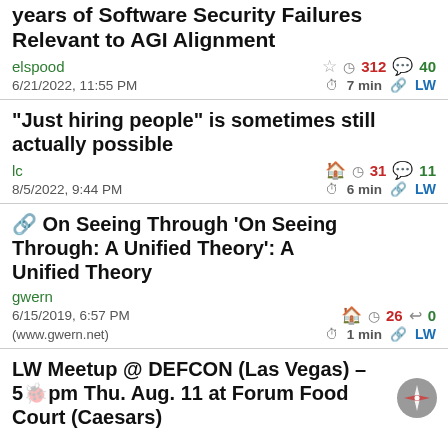years of Software Security Failures Relevant to AGI Alignment
elspood   ☆  ◷ 312  💬 40
6/21/2022, 11:55 PM   ⏱ 7 min  🔗 LW
"Just hiring people" is sometimes still actually possible
lc   🏠  ◷ 31  💬 11
8/5/2022, 9:44 PM   ⏱ 6 min  🔗 LW
🔗 On Seeing Through 'On Seeing Through: A Unified Theory': A Unified Theory
gwern
6/15/2019, 6:57 PM   🏠  ◷ 26  💬 0
(www.gwern.net)   ⏱ 1 min  🔗 LW
LW Meetup @ DEFCON (Las Vegas) – 5pm Thu. Aug. 11 at Forum Food Court (Caesars)